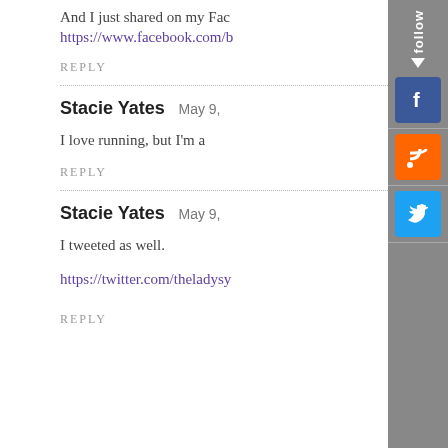And I just shared on my Fac…
https://www.facebook.com/b…
REPLY
Stacie Yates   May 9,
I love running, but I'm a…
REPLY
Stacie Yates   May 9,
I tweeted as well.
https://twitter.com/theladysy…
REPLY